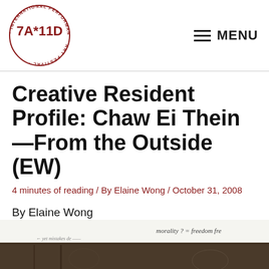[Figure (logo): 7A*11D International Performance Art Festival circular logo with red text around the border and '7A*11D' in the center]
MENU
Creative Resident Profile: Chaw Ei Thein—From the Outside (EW)
4 minutes of reading / By Elaine Wong / October 31, 2008
By Elaine Wong
[Figure (photo): Partial photograph showing text/writing and artwork at the bottom of the page]